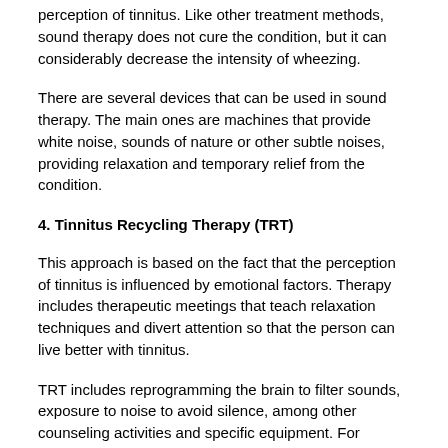perception of tinnitus. Like other treatment methods, sound therapy does not cure the condition, but it can considerably decrease the intensity of wheezing.
There are several devices that can be used in sound therapy. The main ones are machines that provide white noise, sounds of nature or other subtle noises, providing relaxation and temporary relief from the condition.
4. Tinnitus Recycling Therapy (TRT)
This approach is based on the fact that the perception of tinnitus is influenced by emotional factors. Therapy includes therapeutic meetings that teach relaxation techniques and divert attention so that the person can live better with tinnitus.
TRT includes reprogramming the brain to filter sounds, exposure to noise to avoid silence, among other counseling activities and specific equipment. For approximately 18 months, a multidisciplinary team, including an otolaryngologist tinnitus destroyer reviews, speech therapist and occupational therapist, provides personalized follow-up for the patient.